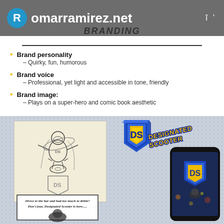romarramirez.net
BRANDING
Brand personality – Quirky, fun, humorous
Brand voice – Professional, yet light and accessible in tone, friendly
Brand image: – Plays on a super-hero and comic book aesthetic
[Figure (illustration): Branding imagery showing: sketched superhero on scooter with DS logo, Designated Scooter shield logo in blue and yellow, 3D DESIGNATED SCOOTER text, phone mockup with DS app, comic panel with text 'Drove to the bar and had too much to drink? Don't fear, Designated Scooter is here.....']